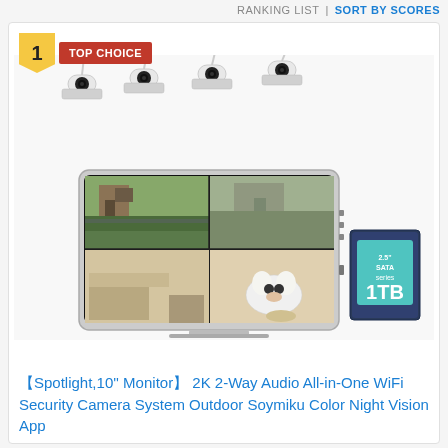RANKING LIST | SORT BY SCORES
[Figure (photo): Security camera system product photo showing four white wireless IP cameras with antennas and a 10-inch monitor/NVR displaying four-split camera views (house exterior, garden, living room, dog with food bowl), plus a 2.5" SATA 1TB hard drive beside the monitor.]
1  TOP CHOICE
【Spotlight,10'' Monitor】 2K 2-Way Audio All-in-One WiFi Security Camera System Outdoor Soymiku Color Night Vision App